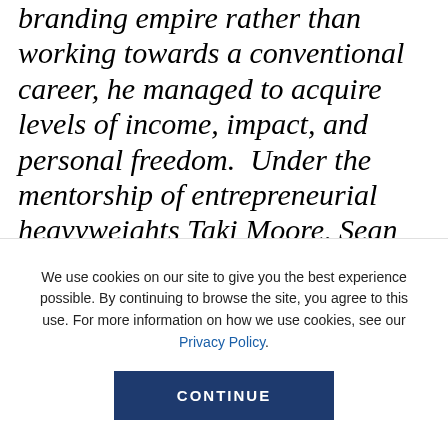branding empire rather than working towards a conventional career, he managed to acquire levels of income, impact, and personal freedom.  Under the mentorship of entrepreneurial heavyweights Taki Moore, Sean Ferres, [...]
Thrive invites voices from many spheres to share their perspectives on our Community platform. Community stories are not commissioned by our editorial team, and opinions expressed
We use cookies on our site to give you the best experience possible. By continuing to browse the site, you agree to this use. For more information on how we use cookies, see our Privacy Policy.
CONTINUE